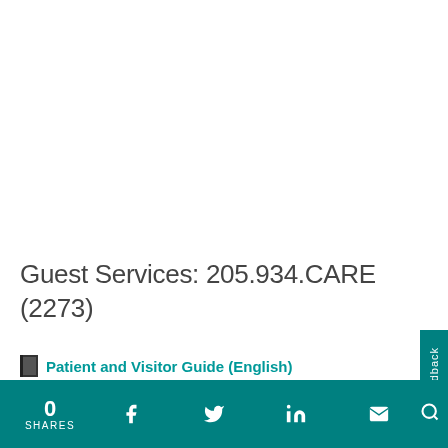Guest Services: 205.934.CARE (2273)
Patient and Visitor Guide (English)
0 SHARES | Facebook | Twitter | LinkedIn | Email | Search | Feedback